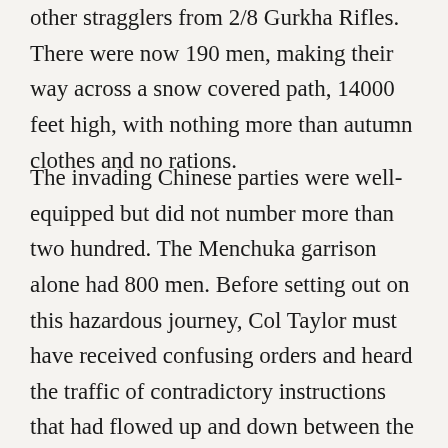other stragglers from 2/8 Gurkha Rifles. There were now 190 men, making their way across a snow covered path, 14000 feet high, with nothing more than autumn clothes and no rations.
The invading Chinese parties were well-equipped but did not number more than two hundred. The Menchuka garrison alone had 800 men. Before setting out on this hazardous journey, Col Taylor must have received confusing orders and heard the traffic of contradictory instructions that had flowed up and down between the Corps, the Division and the Brigade. The tone of the messages was pessimistic and confused. They inspired no confidence in Lt Col Taylor that the Division would